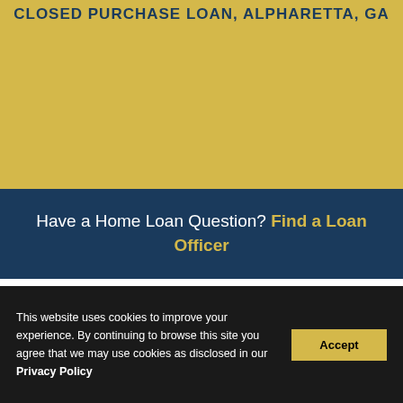CLOSED PURCHASE LOAN, ALPHARETTA, GA
Have a Home Loan Question? Find a Loan Officer
[Figure (logo): First Federal Bank logo — circular dark blue emblem with gold sail/building icon, beside text reading FIRST FEDERAL BANK FORMERLY CBC MORTGAGE]
FAQs
Privacy & Security
This website uses cookies to improve your experience. By continuing to browse this site you agree that we may use cookies as disclosed in our Privacy Policy Accept